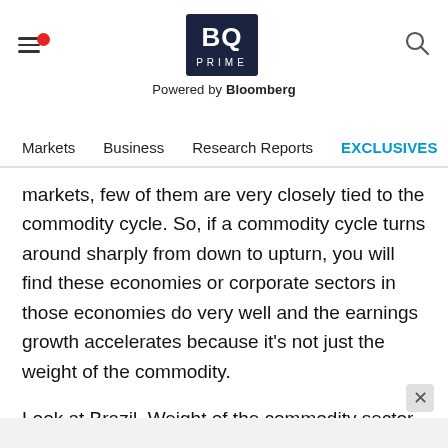BQ PRIME — Powered by Bloomberg
Markets | Business | Research Reports | EXCLUSIVES | Economy
markets, few of them are very closely tied to the commodity cycle. So, if a commodity cycle turns around sharply from down to upturn, you will find these economies or corporate sectors in those economies do very well and the earnings growth accelerates because it's not just the weight of the commodity.
Look at Brazil. Weight of the commodity sector in the benchmark or markets is not very high. Vale and others are not very large companies but it's not like Russia where commodities might make up 75 percent of the markets. B